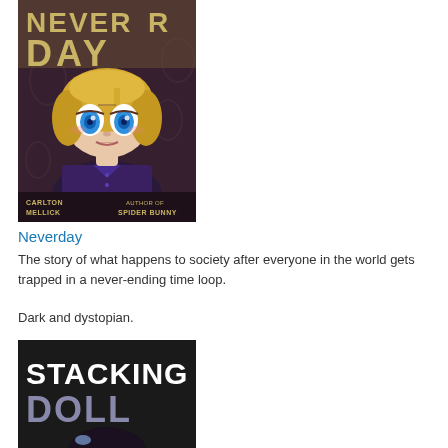[Figure (illustration): Book cover for 'Neverday' by Carlton Mellick, Author of Spider Bunny. Shows an animated doll-like girl with big blue eyes and blonde hair wearing a dark shirt, against a dark patterned background with large stylized title text.]
Neverday
The story of what happens to society after everyone in the world gets trapped in a never-ending time loop.
Dark and dystopian.
[Figure (illustration): Book cover for 'Stacking Doll' — partial view showing large bold white text 'STACKING DOLL' on dark background with a character with black hair visible at the bottom.]